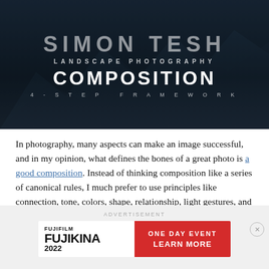[Figure (photo): Dark landscape photography composition book/course cover with mountain background. Text reads: '[author name] LANDSCAPE PHOTOGRAPHY COMPOSITION 4-STEP FRAMEWORK']
In photography, many aspects can make an image successful, and in my opinion, what defines the bones of a great photo is a good composition. Instead of thinking composition like a series of canonical rules, I much prefer to use principles like connection, tone, colors, shape, relationship, light gestures, and so on.
[Figure (screenshot): Advertisement placeholder box reading ADVERTISEMENT with a Fujifilm Fujikina 2022 One Day Event / Learn More banner ad at the bottom.]